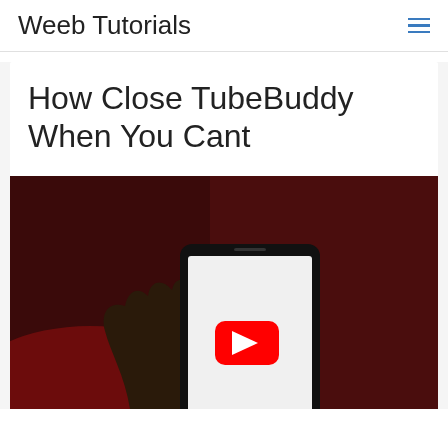Weeb Tutorials
How Close TubeBuddy When You Cant
[Figure (photo): A hand holding a smartphone displaying the YouTube logo (red play button) on a white screen, against a dark reddish-brown background.]